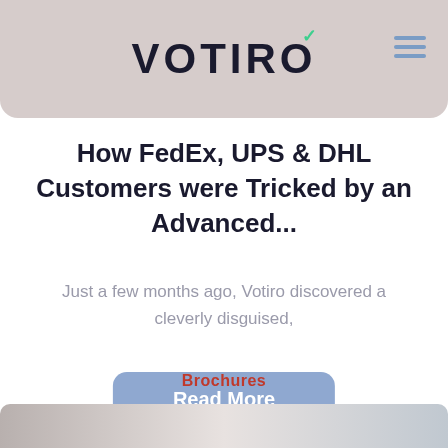VOTIRO
How FedEx, UPS & DHL Customers were Tricked by an Advanced...
Just a few months ago, Votiro discovered a cleverly disguised,
Read More
Brochures
[Figure (photo): Bottom image strip thumbnail partially visible]